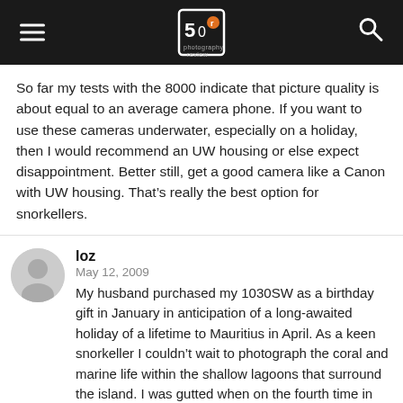photography review header with hamburger menu and search icon
So far my tests with the 8000 indicate that picture quality is about equal to an average camera phone. If you want to use these cameras underwater, especially on a holiday, then I would recommend an UW housing or else expect disappointment. Better still, get a good camera like a Canon with UW housing. That’s really the best option for snorkellers.
loz
May 12, 2009
My husband purchased my 1030SW as a birthday gift in January in anticipation of a long-awaited holiday of a lifetime to Mauritius in April. As a keen snorkeller I couldn’t wait to photograph the coral and marine life within the shallow lagoons that surround the island. I was gutted when on the fourth time in the water I got the “card cover open” warning and the camera was DEAD. I had used it just a few minutes earlier without